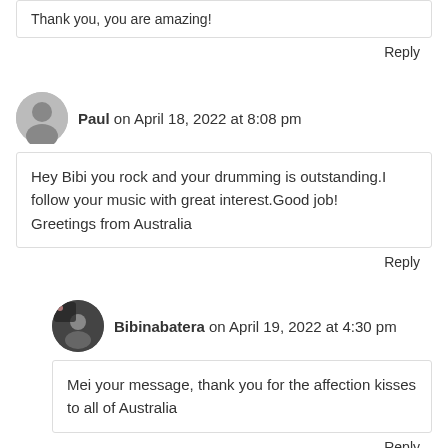Thank you, you are amazing!
Reply
Paul on April 18, 2022 at 8:08 pm
Hey Bibi you rock and your drumming is outstanding.I follow your music with great interest.Good job!
Greetings from Australia
Reply
Bibinabatera on April 19, 2022 at 4:30 pm
Mei your message, thank you for the affection kisses to all of Australia
Reply